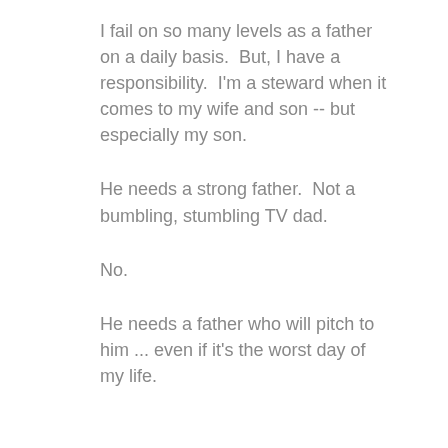I fail on so many levels as a father on a daily basis.  But, I have a responsibility.  I'm a steward when it comes to my wife and son -- but especially my son.
He needs a strong father.  Not a bumbling, stumbling TV dad.
No.
He needs a father who will pitch to him ... even if it's the worst day of my life.